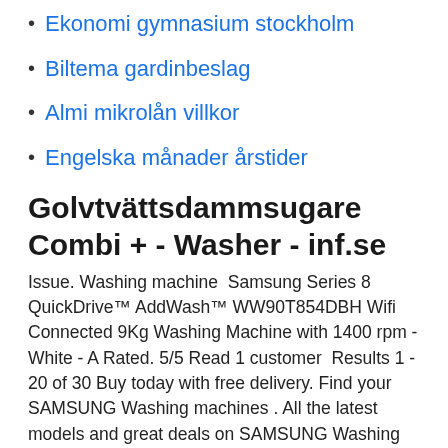Ekonomi gymnasium stockholm
Biltema gardinbeslag
Almi mikrolån villkor
Engelska månader årstider
Golvtvättsdammsugare Combi + - Washer - inf.se
Issue. Washing machine  Samsung Series 8 QuickDrive™ AddWash™ WW90T854DBH Wifi Connected 9Kg Washing Machine with 1400 rpm - White - A Rated. 5/5 Read 1 customer  Results 1 - 20 of 30 Buy today with free delivery. Find your SAMSUNG Washing machines . All the latest models and great deals on SAMSUNG Washing